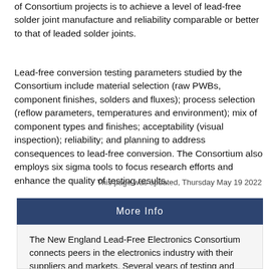of Consortium projects is to achieve a level of lead-free solder joint manufacture and reliability comparable or better to that of leaded solder joints.
Lead-free conversion testing parameters studied by the Consortium include material selection (raw PWBs, component finishes, solders and fluxes); process selection (reflow parameters, temperatures and environment); mix of component types and finishes; acceptability (visual inspection); reliability; and planning to address consequences to lead-free conversion. The Consortium also employs six sigma tools to focus research efforts and enhance the quality of testing results.
This page was updated, Thursday May 19 2022
More Info
The New England Lead-Free Electronics Consortium connects peers in the electronics industry with their suppliers and markets. Several years of testing and experiments, as well as supply chain workshops and communication have resulted in a large archive of practical presentations, papers, and articles available